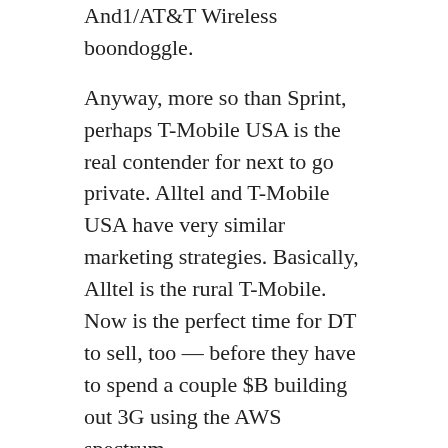And1/AT&T Wireless boondoggle.
Anyway, more so than Sprint, perhaps T-Mobile USA is the real contender for next to go private. Alltel and T-Mobile USA have very similar marketing strategies. Basically, Alltel is the rural T-Mobile. Now is the perfect time for DT to sell, too — before they have to spend a couple $B building out 3G using the AWS spectrum.
REPLY
Mike
May 2, 2008 at 8:26 am
I like alltel and T-mobile. I hope the Simple Freedom plan continues and even better gets updated, and cheaper. T-Mobile pre-pay is a great value but some